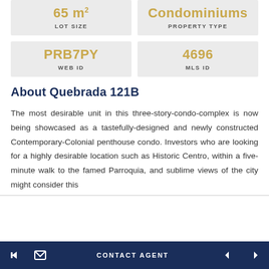| 65 m² LOT SIZE | Condominiums PROPERTY TYPE |
| PRB7PY WEB ID | 4696 MLS ID |
About Quebrada 121B
The most desirable unit in this three-story-condo-complex is now being showcased as a tastefully-designed and newly constructed Contemporary-Colonial penthouse condo. Investors who are looking for a highly desirable location such as Historic Centro, within a five-minute walk to the famed Parroquia, and sublime views of the city might consider this
← | CONTACT AGENT | ◄ | ►